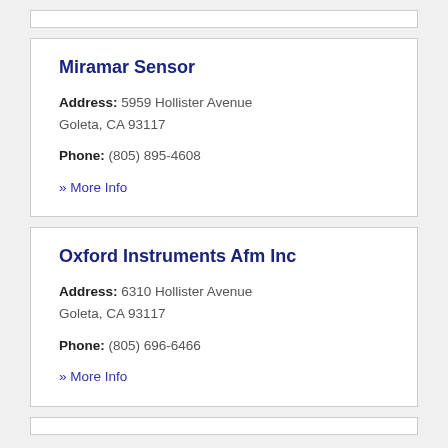Miramar Sensor
Address: 5959 Hollister Avenue Goleta, CA 93117
Phone: (805) 895-4608
» More Info
Oxford Instruments Afm Inc
Address: 6310 Hollister Avenue Goleta, CA 93117
Phone: (805) 696-6466
» More Info